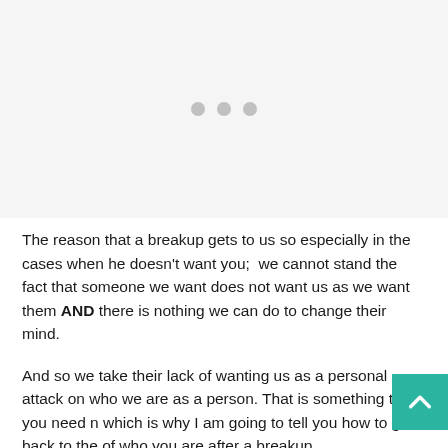[Figure (other): Placeholder image area with light gray background and three gray dots centered in the middle]
The reason that a breakup gets to us so especially in the cases when he doesn't want you;  we cannot stand the fact that someone we want does not want us as we want them AND there is nothing we can do to change their mind.
And so we take their lack of wanting us as a personal attack on who we are as a person. That is something that you need n which is why I am going to tell you how to get back to the of who you are after a breakup.